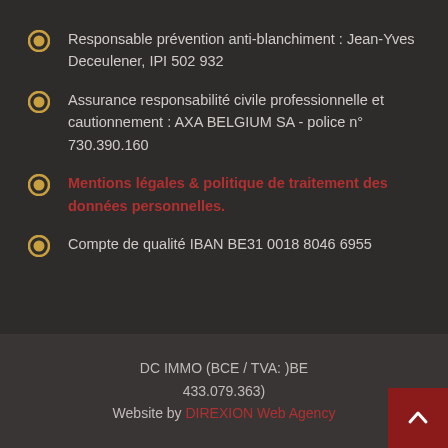Responsable prévention anti-blanchiment : Jean-Yves Deceulener, IPI 502 932
Assurance responsabilité civile professionnelle et cautionnement : AXA BELGIUM SA - police n° 730.390.160
Mentions légales & politique de traitement des données personnelles.
Compte de qualité IBAN BE31 0018 8046 6955
DC IMMO (BCE / TVA: )BE 433.079.363)
Website by DIREXION Web Agency